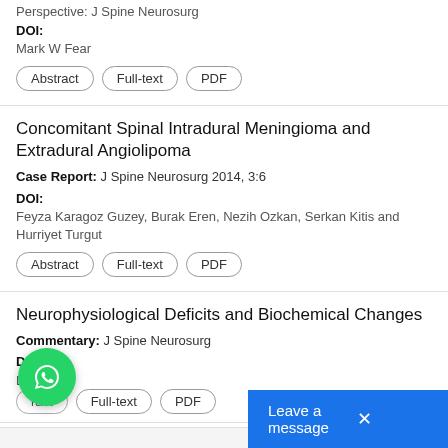Perspective: J Spine Neurosurg
DOI:
Mark W Fear
Abstract | Full-text | PDF
Concomitant Spinal Intradural Meningioma and Extradural Angiolipoma
Case Report: J Spine Neurosurg 2014, 3:6
DOI:
Feyza Karagoz Guzey, Burak Eren, Nezih Ozkan, Serkan Kitis and Hurriyet Turgut
Abstract | Full-text | PDF
Neurophysiological Deficits and Biochemical Changes
Commentary: J Spine Neurosurg
DOI:
Abstract | Full-text | PDF